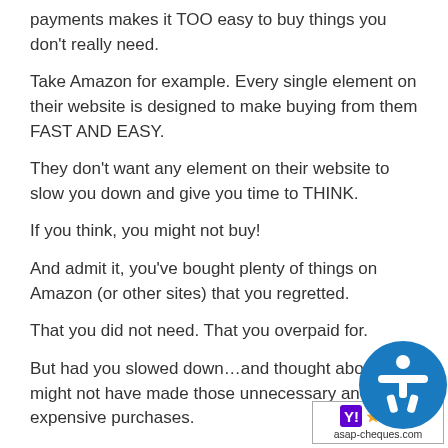payments makes it TOO easy to buy things you don't really need.
Take Amazon for example. Every single element on their website is designed to make buying from them FAST AND EASY.
They don't want any element on their website to slow you down and give you time to THINK.
If you think, you might not buy!
And admit it, you've bought plenty of things on Amazon (or other sites) that you regretted.
That you did not need. That you overpaid for.
But had you slowed down…and thought about it…might not have made those unnecessary and expensive purchases.
[Figure (logo): asap-cheques.com watermark badge with blue accessibility icon and star ratings]